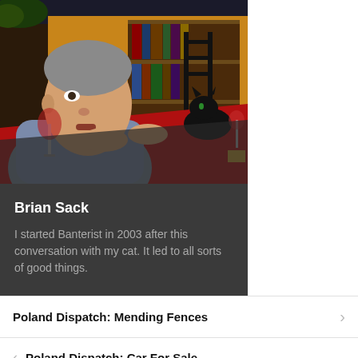[Figure (photo): A man leaning on a red tablecloth table, appearing to talk to a black cat. Bookshelves visible in background. Warm indoor restaurant-like setting.]
Brian Sack
I started Banterist in 2003 after this conversation with my cat. It led to all sorts of good things.
Poland Dispatch: Mending Fences
Poland Dispatch: Car For Sale